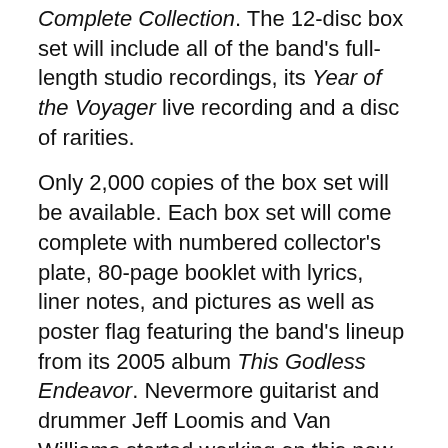Complete Collection. The 12-disc box set will include all of the band's full-length studio recordings, its Year of the Voyager live recording and a disc of rarities.
Only 2,000 copies of the box set will be available. Each box set will come complete with numbered collector's plate, 80-page booklet with lyrics, liner notes, and pictures as well as poster flag featuring the band's lineup from its 2005 album This Godless Endeavor. Nevermore guitarist and drummer Jeff Loomis and Van Williams started working on this new project in 2017. Williams created the box set's art.
The box set's full track listing is noted below.
NEVERMORE “The Complete Collection” Track Listing
Disc 1: Nevermore (1995)